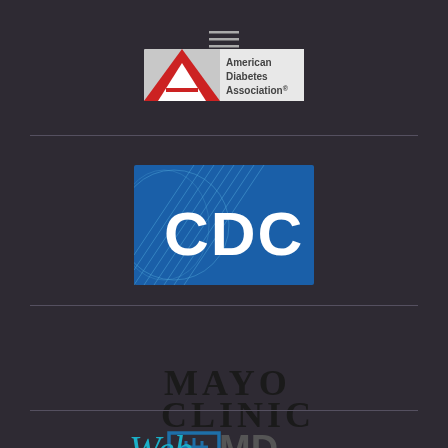[Figure (logo): American Diabetes Association logo with red triangle/A symbol and text]
[Figure (logo): CDC (Centers for Disease Control and Prevention) logo - blue square with white CDC text and globe pattern]
[Figure (logo): Mayo Clinic logo with black text MAYO CLINIC and blue shield emblem]
[Figure (logo): WebMD logo with italic Web in cyan/teal and MD in dark gray]